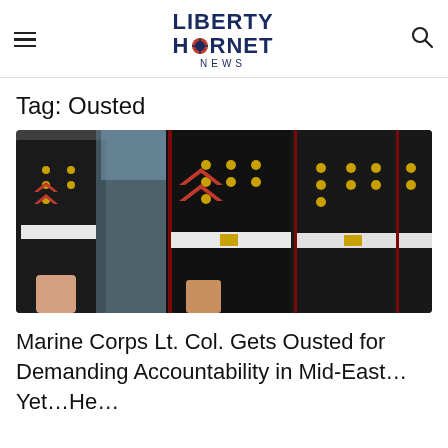Liberty Hornet News
Tag: Ousted
[Figure (photo): Close-up photograph of US Marine Corps soldiers in formal dress uniform, black jackets with gold buttons, red chevron rank insignia on sleeve, white belt, marching in formation]
Marine Corps Lt. Col. Gets Ousted for Demanding Accountability in Mid-East… Yet…He…